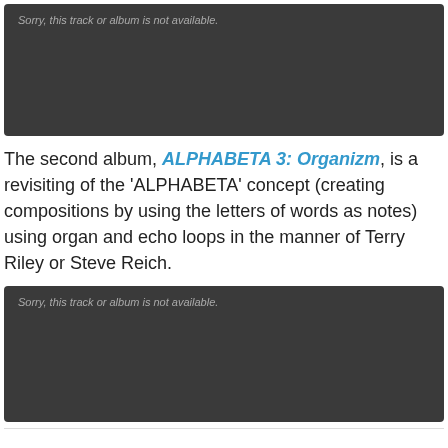[Figure (screenshot): Dark grey embedded audio player placeholder showing 'Sorry, this track or album is not available.']
The second album, ALPHABETA 3: Organizm, is a revisiting of the 'ALPHABETA' concept (creating compositions by using the letters of words as notes) using organ and echo loops in the manner of Terry Riley or Steve Reich.
[Figure (screenshot): Dark grey embedded audio player placeholder showing 'Sorry, this track or album is not available.']